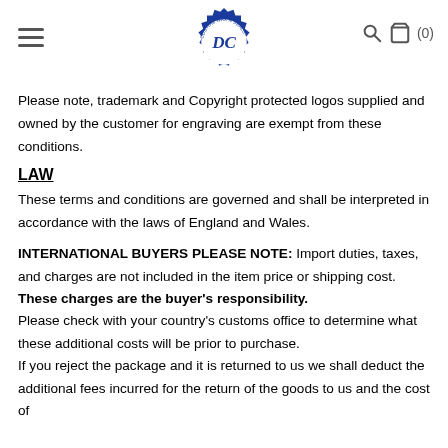[Figure (logo): Circular blue wax seal logo with letters DC and text 'CUSTOM WAX N SEALS' around the border]
Please note, trademark and Copyright protected logos supplied and owned by the customer for engraving are exempt from these conditions.
LAW
These terms and conditions are governed and shall be interpreted in accordance with the laws of England and Wales.
INTERNATIONAL BUYERS PLEASE NOTE: Import duties, taxes, and charges are not included in the item price or shipping cost. These charges are the buyer's responsibility. Please check with your country's customs office to determine what these additional costs will be prior to purchase. If you reject the package and it is returned to us we shall deduct the additional fees incurred for the return of the goods to us and the cost of